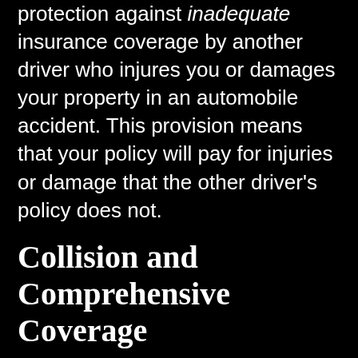protection against inadequate insurance coverage by another driver who injures you or damages your property in an automobile accident. This provision means that your policy will pay for injuries or damage that the other driver's policy does not.
Collision and Comprehensive Coverage
Collision insurance reimburses you for repair costs to your vehicle resulting from a collision. Collision insurance helps reimburse you for repair costs if your vehicle is damaged in an